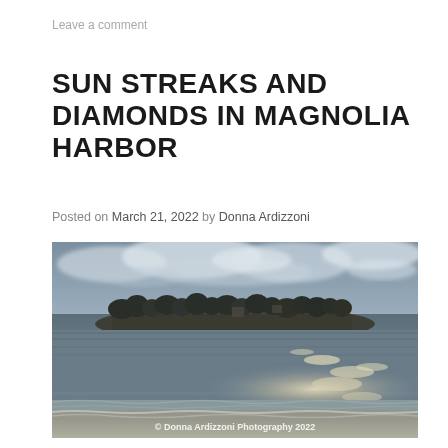Leave a comment
SUN STREAKS AND DIAMONDS IN MAGNOLIA HARBOR
Posted on March 21, 2022 by Donna Ardizzoni
[Figure (photo): A coastal harbor scene showing calm water with sun sparkle on the surface, a wooded headland in the middle distance, and a partly cloudy sky. Sandy beach shoreline in the foreground. Watermark reads: © Donna Ardizzoni Photography 2022]